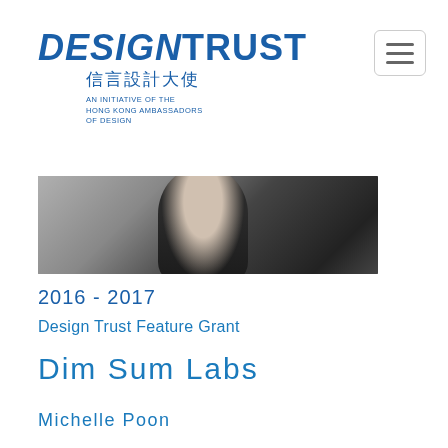[Figure (logo): Design Trust logo with Chinese characters 信言設計大使 and subtitle AN INITIATIVE OF THE HONG KONG AMBASSADORS OF DESIGN]
[Figure (photo): Cropped photo of a person wearing a dark sleeveless top, showing shoulder and partial head with dark hair, against a neutral grey background]
2016 - 2017
Design Trust Feature Grant
Dim Sum Labs
Michelle Poon